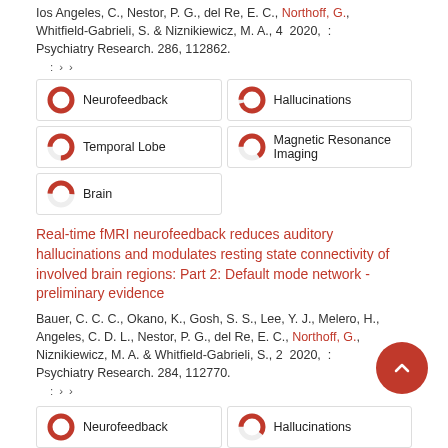Ios Angeles, C., Nestor, P. G., del Re, E. C., Northoff, G., Whitfield-Gabrieli, S. & Niznikiewicz, M. A., 4 2020, : Psychiatry Research. 286, 112862.
: › ›
[Figure (infographic): Five keyword badges with donut-style percentage indicators: Neurofeedback 100%, Hallucinations ~95%, Temporal Lobe ~75%, Magnetic Resonance Imaging ~65%, Brain ~50%]
Real-time fMRI neurofeedback reduces auditory hallucinations and modulates resting state connectivity of involved brain regions: Part 2: Default mode network -preliminary evidence
Bauer, C. C. C., Okano, K., Gosh, S. S., Lee, Y. J., Melero, H., Angeles, C. D. L., Nestor, P. G., del Re, E. C., Northoff, G., Niznikiewicz, M. A. & Whitfield-Gabrieli, S., 2 2020, : Psychiatry Research. 284, 112770.
: › ›
[Figure (infographic): Two keyword badges visible at bottom: Neurofeedback 100%, Hallucinations ~60%]